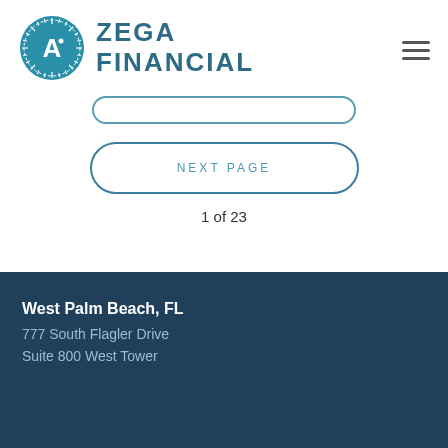[Figure (logo): Zega Financial logo with teal circular emblem and bold uppercase text]
NEXT PAGE
1 of 23
West Palm Beach, FL
777 South Flagler Drive
Suite 800 West Tower